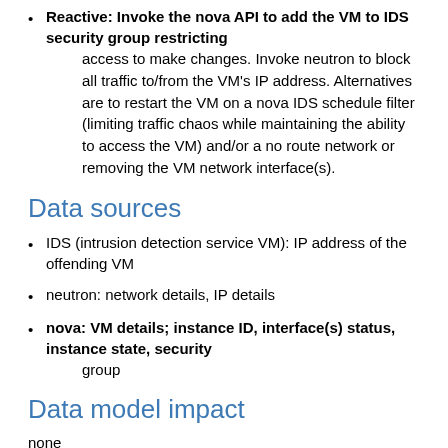Reactive: Invoke the nova API to add the VM to IDS security group restricting access to make changes. Invoke neutron to block all traffic to/from the VM's IP address. Alternatives are to restart the VM on a nova IDS schedule filter (limiting traffic chaos while maintaining the ability to access the VM) and/or a no route network or removing the VM network interface(s).
Data sources
IDS (intrusion detection service VM): IP address of the offending VM
neutron: network details, IP details
nova: VM details; instance ID, interface(s) status, instance state, security group
Data model impact
none